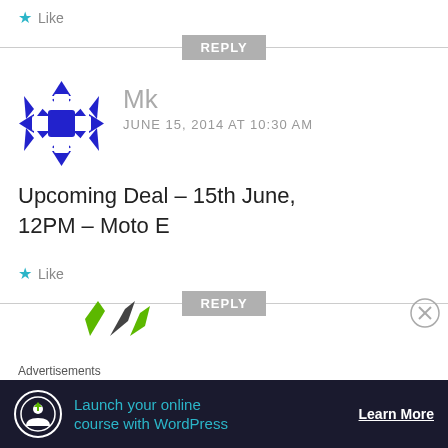★ Like
REPLY
[Figure (illustration): Blue and white geometric avatar icon for user Mk]
Mk
JUNE 15, 2014 AT 10:30 AM
Upcoming Deal – 15th June, 12PM – Moto E
★ Like
REPLY
[Figure (illustration): Partial green avatar visible at bottom]
Advertisements
[Figure (illustration): Advertisement banner: Launch your online course with WordPress – Learn More]